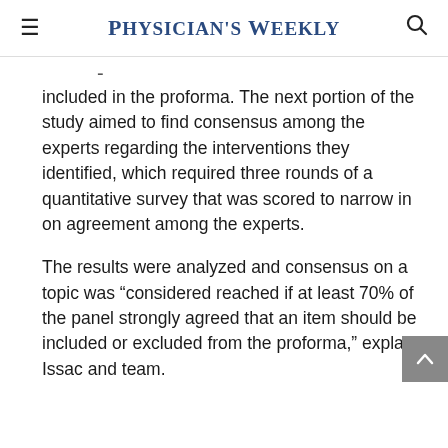Physician's Weekly
included in the proforma. The next portion of the study aimed to find consensus among the experts regarding the interventions they identified, which required three rounds of a quantitative survey that was scored to narrow in on agreement among the experts.
The results were analyzed and consensus on a topic was “considered reached if at least 70% of the panel strongly agreed that an item should be included or excluded from the proforma,” explain Issac and team.